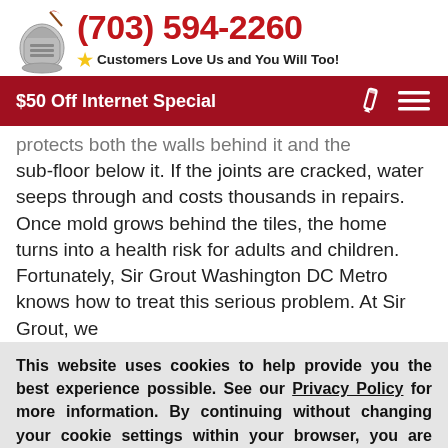(703) 594-2260 — Customers Love Us and You Will Too!
[Figure (logo): Sir Grout knight logo with quill pen]
$50 Off Internet Special
protects both the walls behind it and the sub-floor below it. If the joints are cracked, water seeps through and costs thousands in repairs. Once mold grows behind the tiles, the home turns into a health risk for adults and children. Fortunately, Sir Grout Washington DC Metro knows how to treat this serious problem. At Sir Grout, we
This website uses cookies to help provide you the best experience possible. See our Privacy Policy for more information. By continuing without changing your cookie settings within your browser, you are agreeing to our use of cookies.
ACCEPT